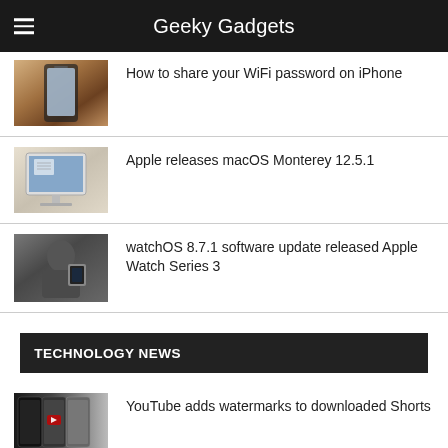Geeky Gadgets
How to share your WiFi password on iPhone
[Figure (photo): Hand holding an iPhone]
Apple releases macOS Monterey 12.5.1
[Figure (photo): Apple iMac on a desk]
watchOS 8.7.1 software update released Apple Watch Series 3
[Figure (photo): Man holding Apple Watch]
TECHNOLOGY NEWS
[Figure (photo): Smartphones showing YouTube Shorts]
YouTube adds watermarks to downloaded Shorts